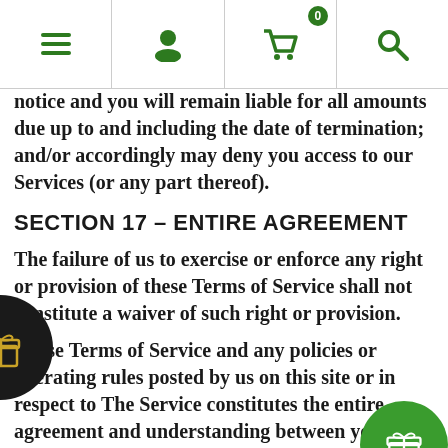[Navigation bar with menu, user, cart (0), search icons]
notice and you will remain liable for all amounts due up to and including the date of termination; and/or accordingly may deny you access to our Services (or any part thereof).
SECTION 17 – ENTIRE AGREEMENT
The failure of us to exercise or enforce any right or provision of these Terms of Service shall not constitute a waiver of such right or provision.
These Terms of Service and any policies or operating rules posted by us on this site or in respect to The Service constitutes the entire agreement and understanding between you and